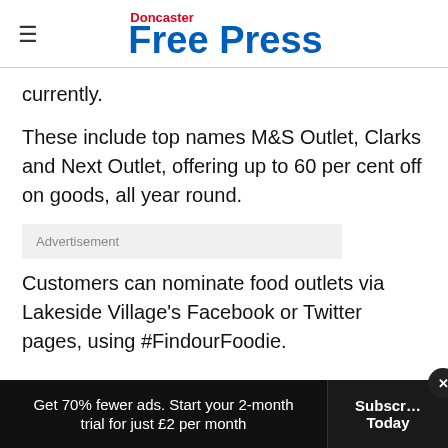Doncaster Free Press
currently.
These include top names M&S Outlet, Clarks and Next Outlet, offering up to 60 per cent off on goods, all year round.
Advertisement
Customers can nominate food outlets via Lakeside Village's Facebook or Twitter pages, using #FindourFoodie.
Get 70% fewer ads. Start your 2-month trial for just £2 per month  Subscribe Today